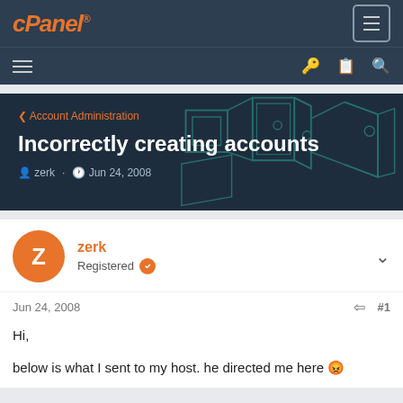cPanel
[Figure (screenshot): cPanel forum page header with navigation bars, hero banner showing 'Incorrectly creating accounts' thread title, user post by zerk on Jun 24, 2008]
Incorrectly creating accounts
< Account Administration
zerk · Jun 24, 2008
zerk
Registered
Jun 24, 2008  #1
Hi,

below is what I sent to my host. he directed me here 😡